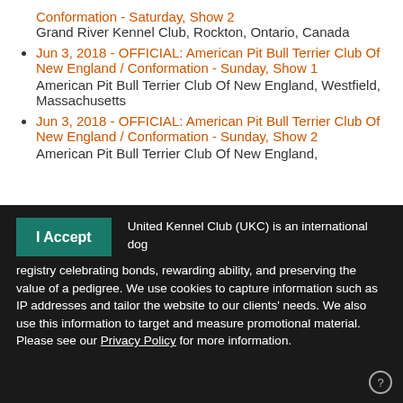Conformation - Saturday, Show 2
Grand River Kennel Club, Rockton, Ontario, Canada
Jun 3, 2018 - OFFICIAL: American Pit Bull Terrier Club Of New England / Conformation - Sunday, Show 1
American Pit Bull Terrier Club Of New England, Westfield, Massachusetts
Jun 3, 2018 - OFFICIAL: American Pit Bull Terrier Club Of New England / Conformation - Sunday, Show 2
American Pit Bull Terrier Club Of New England,
United Kennel Club (UKC) is an international dog registry celebrating bonds, rewarding ability, and preserving the value of a pedigree. We use cookies to capture information such as IP addresses and tailor the website to our clients' needs. We also use this information to target and measure promotional material. Please see our Privacy Policy for more information.